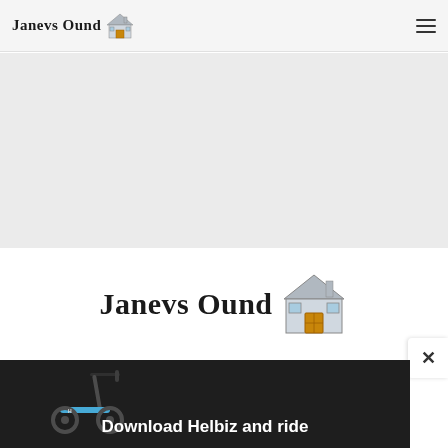Janevs Ound
[Figure (screenshot): Gray advertisement placeholder area in the upper portion of the page]
Janevs Ound
[Figure (screenshot): Advertisement banner for Helbiz scooter app showing a scooter image and text 'Download Helbiz and ride' with close and play buttons]